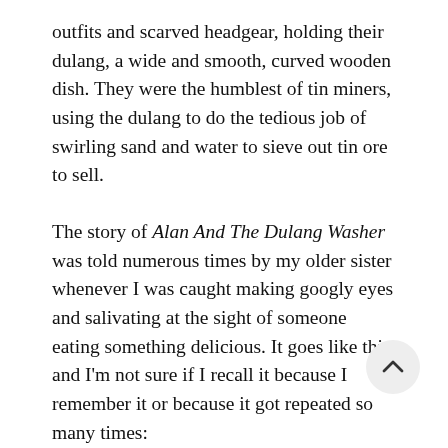outfits and scarved headgear, holding their dulang, a wide and smooth, curved wooden dish. They were the humblest of tin miners, using the dulang to do the tedious job of swirling sand and water to sieve out tin ore to sell.
The story of Alan And The Dulang Washer was told numerous times by my older sister whenever I was caught making googly eyes and salivating at the sight of someone eating something delicious. It goes like this, and I'm not sure if I recall it because I remember it or because it got repeated so many times:
I must have been no older than six years old and a packed bus heading for Jinjang when the bus stopped. A man was leaving the bus when one of his packages burst, several oranges tumbled out and he